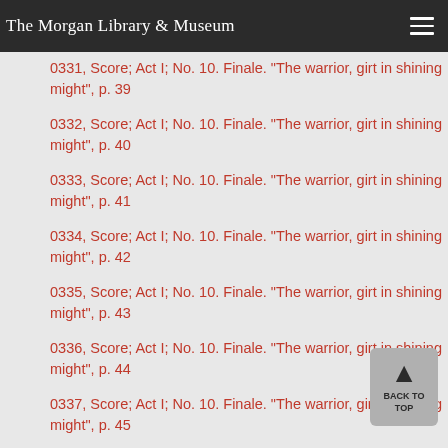The Morgan Library & Museum
0331, Score; Act I; No. 10. Finale. "The warrior, girt in shining might", p. 39
0332, Score; Act I; No. 10. Finale. "The warrior, girt in shining might", p. 40
0333, Score; Act I; No. 10. Finale. "The warrior, girt in shining might", p. 41
0334, Score; Act I; No. 10. Finale. "The warrior, girt in shining might", p. 42
0335, Score; Act I; No. 10. Finale. "The warrior, girt in shining might", p. 43
0336, Score; Act I; No. 10. Finale. "The warrior, girt in shining might", p. 44
0337, Score; Act I; No. 10. Finale. "The warrior, girt in shining might", p. 45